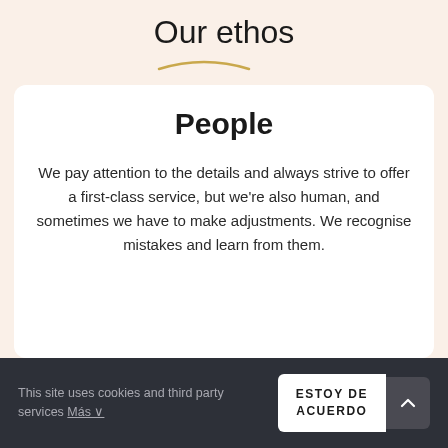Our ethos
People
We pay attention to the details and always strive to offer a first-class service, but we're also human, and sometimes we have to make adjustments. We recognise mistakes and learn from them.
This site uses cookies and third party services Más ∨  ESTOY DE ACUERDO